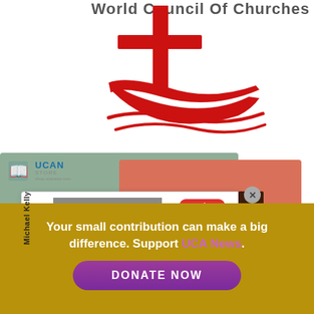[Figure (logo): World Council of Churches logo with red cross and boat/arc shapes, text 'World Council of Churches' in grey]
[Figure (screenshot): UCAN Store ebook promotional overlay showing Michael Kelly ebook cover with eBook badge, coral and sage background cards, brown 'SPECIAL EBOOKS' vertical sidebar, and a close X button]
ssembly
cribes the
gn of
CC
Your small contribution can make a big difference. Support UCA News.
DONATE NOW